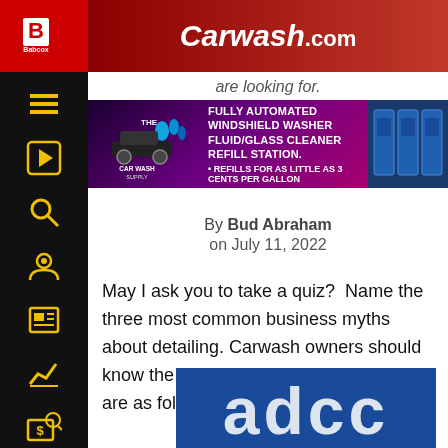Carwash.com
are looking for.
[Figure (infographic): Advertisement banner for The Car Wash Supply: Fully Automated Windshield Washer Fluid/Glass Cleaner Refill Station. Refills for as little as 3 cents per gallon.]
By Bud Abraham
on July 11, 2022
May I ask you to take a quiz?  Name the three most common business myths about detailing. Carwash owners should know the answer, but if you don't, they are as follows:
[Figure (photo): Blue image showing partial text 'adcc' in large white letters]